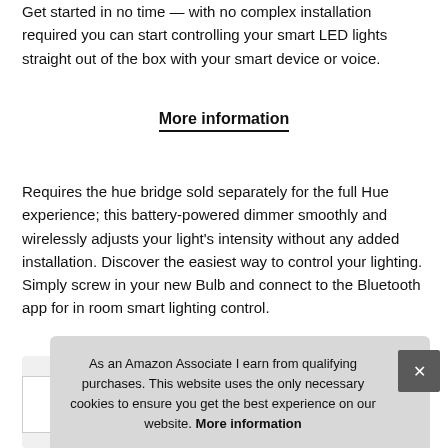Get started in no time — with no complex installation required you can start controlling your smart LED lights straight out of the box with your smart device or voice.
More information
Requires the hue bridge sold separately for the full Hue experience; this battery-powered dimmer smoothly and wirelessly adjusts your light's intensity without any added installation. Discover the easiest way to control your lighting. Simply screw in your new Bulb and connect to the Bluetooth app for in room smart lighting control.
As an Amazon Associate I earn from qualifying purchases. This website uses the only necessary cookies to ensure you get the best experience on our website. More information